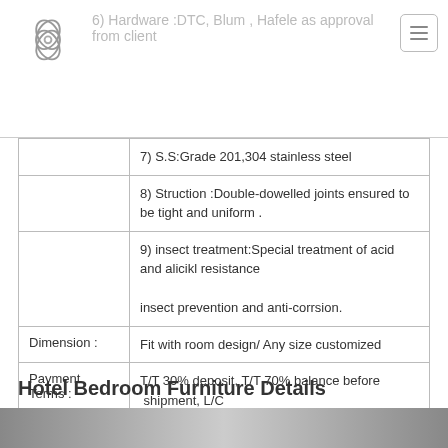6) Hardware :DTC, Blum , Hafele as approval from client
|  |  |
| --- | --- |
|  | 7) S.S:Grade 201,304 stainless steel |
|  | 8) Struction :Double-dowelled joints ensured to be tight and uniform . |
|  | 9) insect treatment:Special treatment of acid and alicikl resistance

insect prevention and anti-corrsion. |
| Dimension : | Fit with room design/ Any size customized |
| Payment Terms : | T/T 30% deposit, T/T 70% balance before shipment, L/C |
Hotel Bedroom Furniture Details
[Figure (photo): Gray/silver image strip at bottom of page]